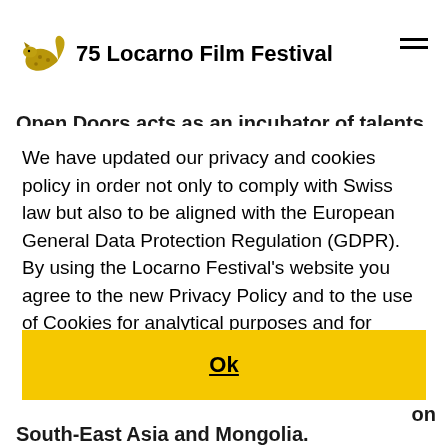75 Locarno Film Festival
Open Doors acts as an incubator of talents, offering a hub that can change its attendees' careers, where
We have updated our privacy and cookies policy in order not only to comply with Swiss law but also to be aligned with the European General Data Protection Regulation (GDPR). By using the Locarno Festival's website you agree to the new Privacy Policy and to the use of Cookies for analytical purposes and for ensuring you get the best experience on our website. More info
Ok
South-East Asia and Mongolia.